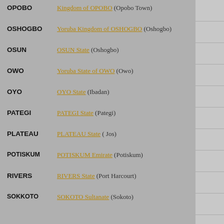OPOBO — Kingdom of OPOBO (Opobo Town)
OSHOGBO — Yoruba Kingdom of OSHOGBO (Oshogbo)
OSUN — OSUN State (Oshogbo)
OWO — Yoruba State of OWO (Owo)
OYO — OYO State (Ibadan)
PATEGI — PATEGI State (Pategi)
PLATEAU — PLATEAU State (Jos)
POTISKUM — POTISKUM Emirate (Potiskum)
RIVERS — RIVERS State (Port Harcourt)
SOKKOTO — SOKOTO Sultanate (Sokoto)